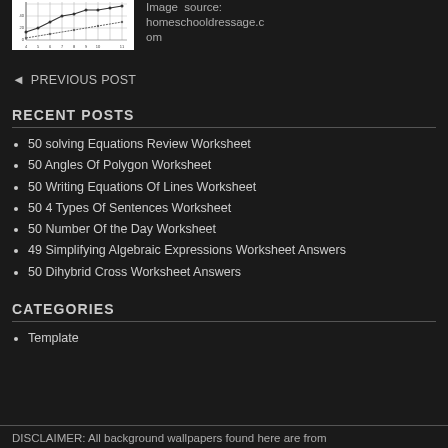[Figure (continuous-plot): Small line/scatter chart showing plant growth data. X-axis: 'Day plant measured' (4 through 11). Y-axis values up to ~45. Multiple plotted lines with data points on a grid background.]
Image source: homeschooldressage.com
◄ PREVIOUS POST
RECENT POSTS
50 solving Equations Review Worksheet
50 Angles Of Polygon Worksheet
50 Writing Equations Of Lines Worksheet
50 4 Types Of Sentences Worksheet
50 Number Of the Day Worksheet
49 Simplifying Algebraic Expressions Worksheet Answers
50 Dihybrid Cross Worksheet Answers
CATEGORIES
Template
DISCLAIMER: All background wallpapers found here are from